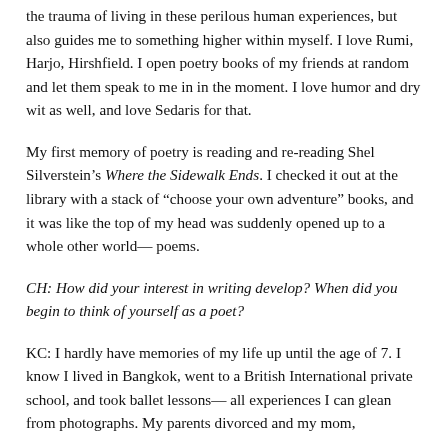the trauma of living in these perilous human experiences, but also guides me to something higher within myself. I love Rumi, Harjo, Hirshfield. I open poetry books of my friends at random and let them speak to me in in the moment. I love humor and dry wit as well, and love Sedaris for that.
My first memory of poetry is reading and re-reading Shel Silverstein's Where the Sidewalk Ends. I checked it out at the library with a stack of “choose your own adventure” books, and it was like the top of my head was suddenly opened up to a whole other world— poems.
CH: How did your interest in writing develop? When did you begin to think of yourself as a poet?
KC: I hardly have memories of my life up until the age of 7. I know I lived in Bangkok, went to a British International private school, and took ballet lessons— all experiences I can glean from photographs. My parents divorced and my mom,